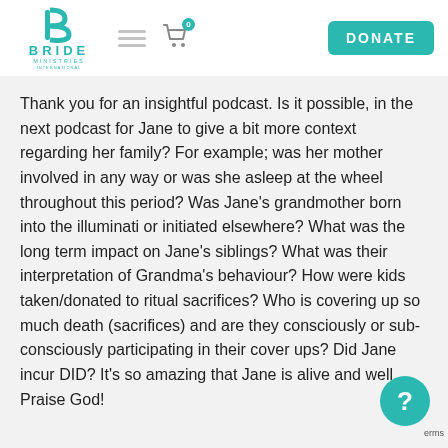[Figure (logo): Bride Ministries International logo with teal stylized 'b' lettermark above text BRIDE MINISTRIES INTERNATIONAL]
Thank you for an insightful podcast. Is it possible, in the next podcast for Jane to give a bit more context regarding her family? For example; was her mother involved in any way or was she asleep at the wheel throughout this period? Was Jane's grandmother born into the illuminati or initiated elsewhere? What was the long term impact on Jane's siblings? What was their interpretation of Grandma's behaviour? How were kids taken/donated to ritual sacrifices? Who is covering up so much death (sacrifices) and are they consciously or sub-consciously participating in their cover ups? Did Jane incur DID? It's so amazing that Jane is alive and well. Praise God!